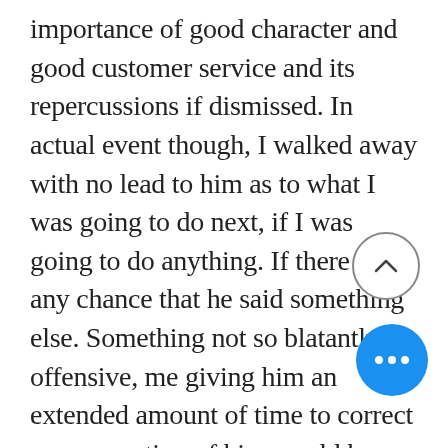importance of good character and good customer service and its repercussions if dismissed. In actual event though, I walked away with no lead to him as to what I was going to do next, if I was going to do anything. If there was any chance that he said something else. Something not so blatantly offensive, me giving him an extended amount of time to correct my perception of him, could have really turned things around.

I don't plan on visiting that store again. Because of how scaring that interaction was for me. It is not my first encounter with someone who shares the same kind of opinion, but
[Figure (other): UI button: circle with up-chevron arrow (scroll to top)]
[Figure (other): UI button: blue circle with three white dots (more options)]